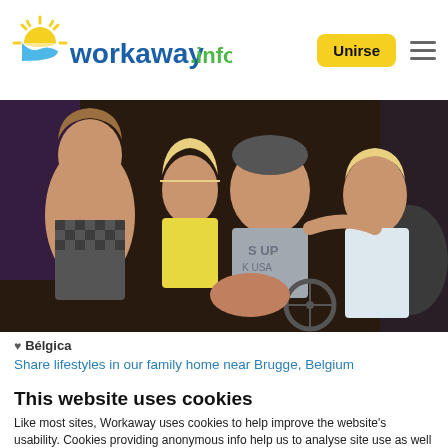workaway.info — Unirse (button) — Hamburger menu
[Figure (photo): Family photo showing four people — a woman, a man in a wheelchair, and two young girls — posing together at what appears to be an outdoor evening event]
♥ Bélgica
Share lifestyles in our family home near Brugge, Belgium
This website uses cookies
Like most sites, Workaway uses cookies to help improve the website's usability. Cookies providing anonymous info help us to analyse site use as well as improve content and present social media features.  You consent to our cookies if you continue to use our website.
OK
Settings ▾